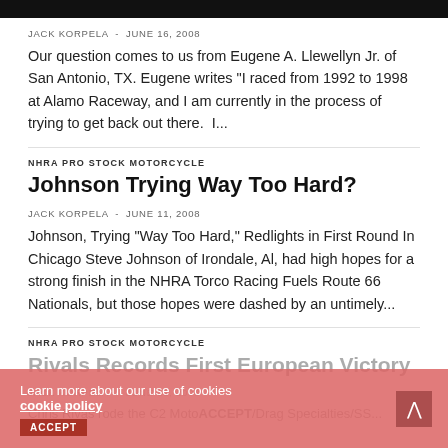JACK KORPELA  -  JUNE 16, 2008
Our question comes to us from Eugene A. Llewellyn Jr. of San Antonio, TX. Eugene writes “I raced from 1992 to 1998 at Alamo Raceway, and I am currently in the process of trying to get back out there.  I...
NHRA PRO STOCK MOTORCYCLE
Johnson Trying Way Too Hard?
JACK KORPELA  -  JUNE 11, 2008
Johnson, Trying “Way Too Hard,” Redlights in First Round In Chicago Steve Johnson of Irondale, Al, had high hopes for a strong finish in the NHRA Torco Racing Fuels Route 66 Nationals, but those hopes were dashed by an untimely...
NHRA PRO STOCK MOTORCYCLE
Rivals Records First European Victory
JACK KORPELA  -  JUNE 11, 2008
Chris Rivas rode the C2 Moto/Drag Specialties/SS...
Learn more about our use of cookies cookie policy  ACCEPT